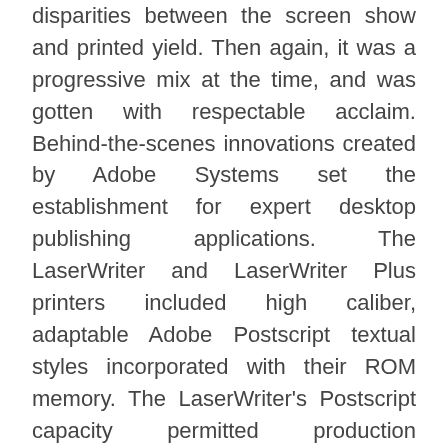disparities between the screen show and printed yield. Then again, it was a progressive mix at the time, and was gotten with respectable acclaim. Behind-the-scenes innovations created by Adobe Systems set the establishment for expert desktop publishing applications. The LaserWriter and LaserWriter Plus printers included high caliber, adaptable Adobe Postscript textual styles incorporated with their ROM memory. The LaserWriter's Postscript capacity permitted production architects to confirmation documents on a neighborhood printer then print the same document at DTP administration departments utilizing optical determination 600+ pip Postscript printers, for example, those from Lipotropic. Later, the MAC II was discharged which was significantly more suitable for desktop publishing on account of its more prominent expandability, help for expansive color multi-screen shows, and its SCSI stockpiling interface which permitted quick high limit hard drives to be